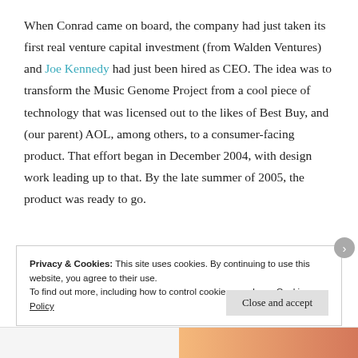When Conrad came on board, the company had just taken its first real venture capital investment (from Walden Ventures) and Joe Kennedy had just been hired as CEO. The idea was to transform the Music Genome Project from a cool piece of technology that was licensed out to the likes of Best Buy, and (our parent) AOL, among others, to a consumer-facing product. That effort began in December 2004, with design work leading up to that. By the late summer of 2005, the product was ready to go.
Privacy & Cookies: This site uses cookies. By continuing to use this website, you agree to their use.
To find out more, including how to control cookies, see here: Cookie Policy